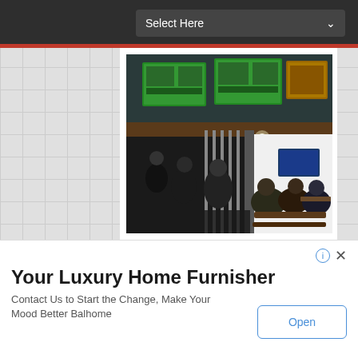Select Here
[Figure (photo): Interior of Tri Hita Pojok Sudirman restaurant at night, showing illuminated menu boards hanging from a dark ceiling, staff and customers seated at tables in a dimly lit space with white walls.]
Tri Hita Pojok Sudirman
Your Luxury Home Furnisher
Contact Us to Start the Change, Make Your Mood Better Balhome
Open